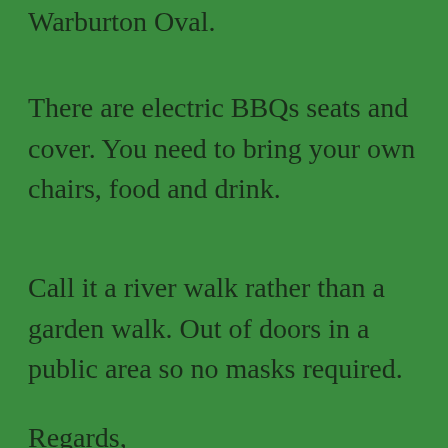Warburton Oval.
There are electric BBQs seats and cover. You need to bring your own chairs, food and drink.
Call it a river walk rather than a garden walk.  Out of doors in a public area so no masks required.
Regards,